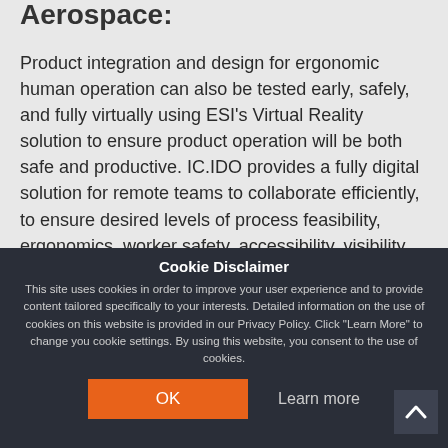Aerospace:
Product integration and design for ergonomic human operation can also be tested early, safely, and fully virtually using ESI's Virtual Reality solution to ensure product operation will be both safe and productive. IC.IDO provides a fully digital solution for remote teams to collaborate efficiently, to ensure desired levels of process feasibility, ergonomics, worker safety, accessibility, visibility, and operability.
Cookie Disclaimer
This site uses cookies in order to improve your user experience and to provide content tailored specifically to your interests. Detailed information on the use of cookies on this website is provided in our Privacy Policy. Click "Learn More" to change you cookie settings. By using this website, you consent to the use of cookies.